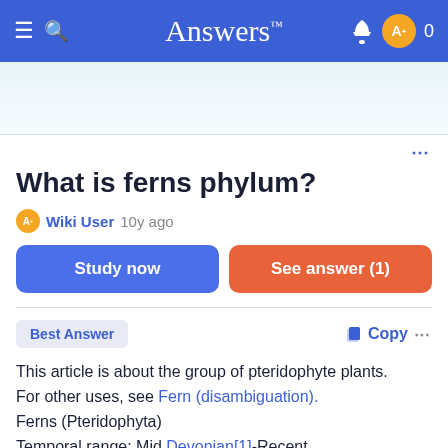Answers™
[Figure (other): Advertisement banner area with light blue gradient background]
What is ferns phylum?
Wiki User 10y ago
Study now | See answer (1)
Best Answer
Copy
This article is about the group of pteridophyte plants. For other uses, see Fern (disambiguation). Ferns (Pteridophyta) Temporal range: Mid Devonian[1]-Recent